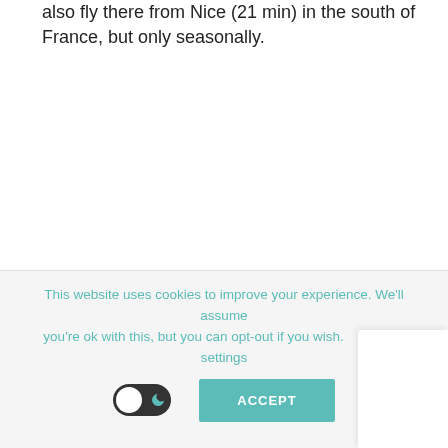also fly there from Nice (21 min) in the south of France, but only seasonally.
This website uses cookies to improve your experience. We'll assume you're ok with this, but you can opt-out if you wish.   Cookie settings